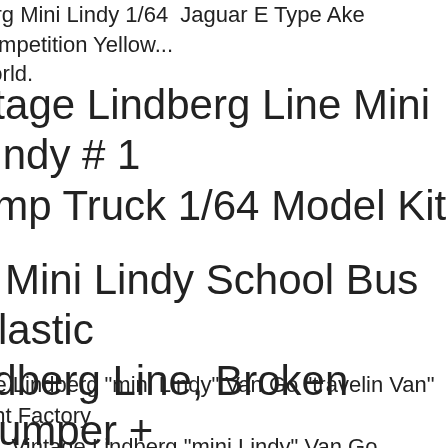borg Mini Lindy 1/64 Jaguar E Type Ake Competition Yellow... World.
Vintage Lindberg Line Mini Lindy # 1 Dump Truck 1/64 Model Kit
n Mini Lindy School Bus Plastic ndberg Line, Broken Bumper + onus Parts Car
age Lindberg "mini Lindy" Van Go "travelin Van" Mint Factory led. Vintage Lindberg "mini Lindy" Van Go "travelin Van" Mint tory Sealed. Snap-fit Copyright 1977. H.o. Scale Or Close To 16 e. Uses First Class Mail. Free Shipping. See Disc...